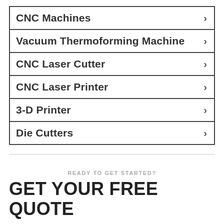CNC Machines
Vacuum Thermoforming Machine
CNC Laser Cutter
CNC Laser Printer
3-D Printer
Die Cutters
READY TO GET STARTED?
GET YOUR FREE QUOTE
First Na...